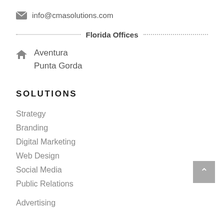info@cmasolutions.com
Florida Offices
Aventura
Punta Gorda
SOLUTIONS
Strategy
Branding
Digital Marketing
Web Design
Social Media
Public Relations
Advertising